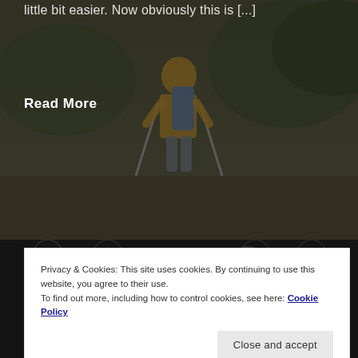[Figure (photo): Partial view of a person hiking with trekking poles and a backpack, outdoors with trees in background. Dark overlay on photo.]
little bit easier. Now obviously this is […]
Read More
[Figure (photo): Two men photographed indoors against a black and white patterned curtain/backdrop.]
FITNESS JOURNEY – WEEK 15
So today marks the start of my 15th week of my
Privacy & Cookies: This site uses cookies. By continuing to use this website, you agree to their use.
To find out more, including how to control cookies, see here: Cookie Policy
Close and accept